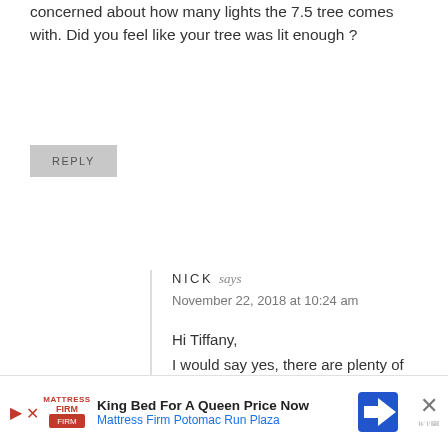concerned about how many lights the 7.5 tree comes with. Did you feel like your tree was lit enough ?
REPLY
NICK says
November 22, 2018 at 10:24 am
Hi Tiffany,
I would say yes, there are plenty of lights on this tree. This is our second year with it, and we've never felt like we needed to add any more to it! 😉
REPLY
[Figure (infographic): Advertisement banner: Mattress Firm — King Bed For A Queen Price Now, Mattress Firm Potomac Run Plaza, with navigation arrow icon and close button]